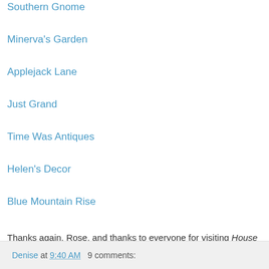Southern Gnome
Minerva's Garden
Applejack Lane
Just Grand
Time Was Antiques
Helen's Decor
Blue Mountain Rise
Thanks again, Rose, and thanks to everyone for visiting House at Forest Manor.
Denise
Denise at 9:40 AM   9 comments: